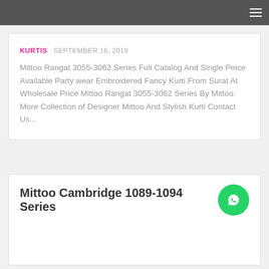Navigation bar with hamburger menu
KURTIS  SEPTEMBER 16, 2019
Mittoo Rangat 3055-3062 Series Full Catalog And Single Peice Available Party wear Embroidered Fancy Kurti From Surat At Wholesale Price Mittoo Rangat 3055-3062 Series By Mittoo. More Collection of Designer Mittoo And Stylish Kurti Contact Us...
Mittoo Cambridge 1089-1094 Series